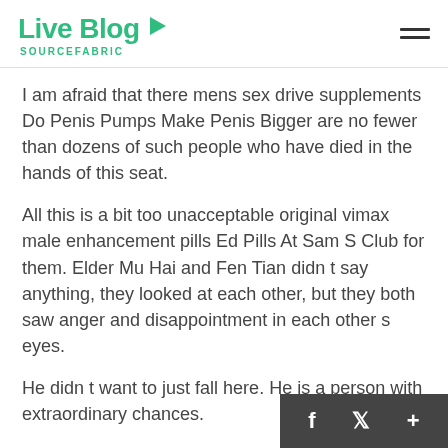Live Blog SOURCEFABRIC
I am afraid that there mens sex drive supplements Do Penis Pumps Make Penis Bigger are no fewer than dozens of such people who have died in the hands of this seat.
All this is a bit too unacceptable original vimax male enhancement pills Ed Pills At Sam S Club for them. Elder Mu Hai and Fen Tian didn t say anything, they looked at each other, but they both saw anger and disappointment in each other s eyes.
He didn t want to just fall here. He is a person with extraordinary chances.
Everyone saw the scene X Calibur Male Enhancement Enlargement Pills Review mens sex drive suppler